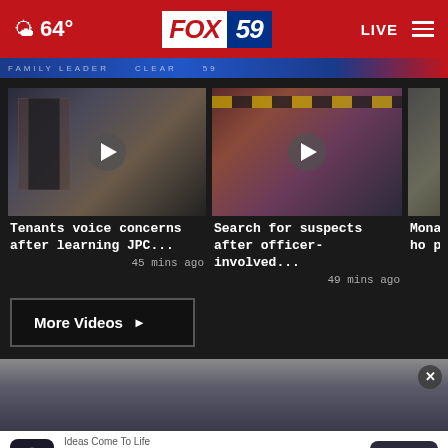FOX 59 — 64° — LIVE
[Figure (screenshot): Blue news ticker strip with text]
[Figure (screenshot): Video thumbnail: Tenants voice concerns after learning JPC... — 45 mins ago]
[Figure (screenshot): Video thumbnail: Search for suspects after officer-involved... — 49 mins ago]
[Figure (screenshot): Video thumbnail: Monar... ho pes... (partially visible)]
More Videos ▶
[Figure (photo): Person photo in content area]
[Figure (infographic): Ad banner: Ideas Come To Life — Organized Group Chats Online — Open button]